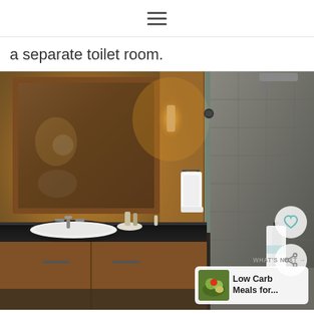≡
a separate toilet room.
[Figure (photo): Hotel bathroom with dark granite vanity counter, a round white sink, large wooden-framed mirror, wall sconce light, white towels on a rack and towel bar, and a glass-enclosed stone tile shower with rain showerhead. Social media overlay buttons (heart/share) visible on the right side, and a 'What's Next: Low Carb Meals for...' recommendation widget in the bottom right corner.]